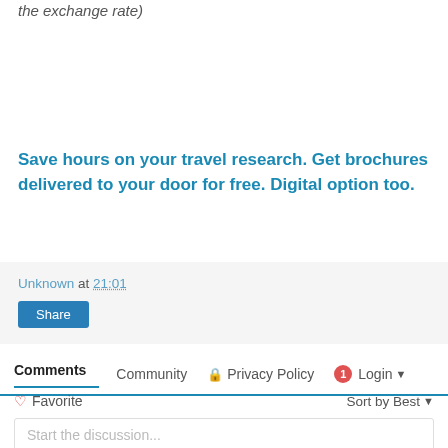the exchange rate)
Save hours on your travel research. Get brochures delivered to your door for free. Digital option too.
Unknown at 21:01
Share
Comments   Community   Privacy Policy   1  Login
Favorite   Sort by Best
Start the discussion...